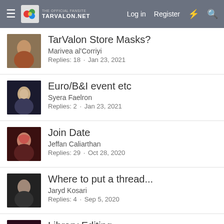TarValon.net — Log in | Register
TarValon Store Masks?
Marivea al'Corriyi
Replies: 18 · Jan 23, 2021
Euro/B&I event etc
Syera Faelron
Replies: 2 · Jan 23, 2021
Join Date
Jeffan Caliarthan
Replies: 29 · Oct 28, 2020
Where to put a thread...
Jaryd Kosari
Replies: 4 · Sep 5, 2020
Library Editing
Laralelle Susandrea
Replies: 2 · Aug 1, 2020